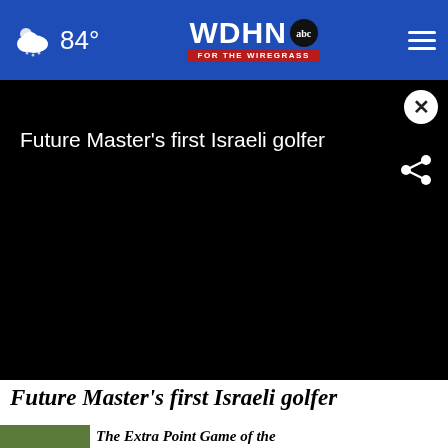WDHN ABC FOR THE WIREGRASS | 84°
Future Master's first Israeli golfer
Future Master's first Israeli golfer
The Extra Point Game of the